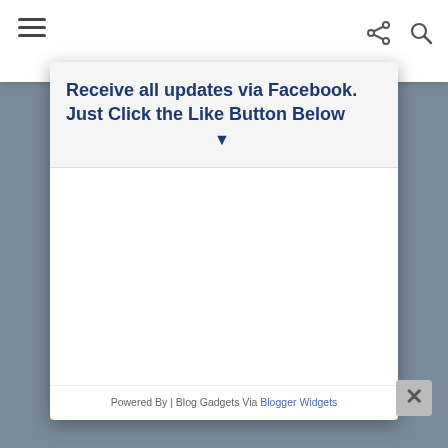[Figure (screenshot): Website modal overlay popup on a blog page. Top white navigation bar with hamburger menu icon on left, share and search icons on right. A white modal popup with rounded corners and drop shadow contains a header with dark blue bold text 'Receive all updates via Facebook. Just Click the Like Button Below' with a down-pointing triangle arrow below. The modal body is white/blank. Footer text reads 'Powered By | Blog Gadgets Via Blogger Widgets'. A close button (X) appears at bottom right of the modal. Background shows a blurred brownish blog page.]
Receive all updates via Facebook. Just Click the Like Button Below
Powered By | Blog Gadgets Via Blogger Widgets